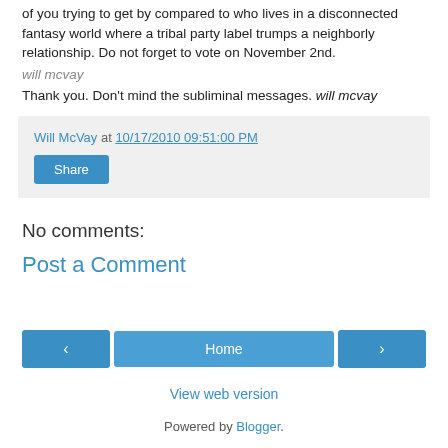of you trying to get by compared to who lives in a disconnected fantasy world where a tribal party label trumps a neighborly relationship. Do not forget to vote on November 2nd.
will mcvay
Thank you. Don't mind the subliminal messages. will mcvay
Will McVay at 10/17/2010 09:51:00 PM
Share
No comments:
Post a Comment
‹
Home
›
View web version
Powered by Blogger.